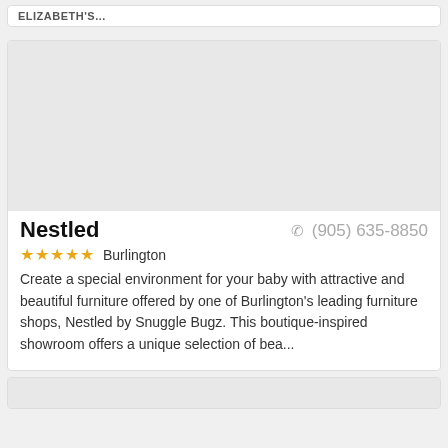ELIZABETH'S...
[Figure (photo): Gray placeholder image for Nestled business listing]
Nestled
(905) 635-8850
☆☆☆☆☆ Burlington
Create a special environment for your baby with attractive and beautiful furniture offered by one of Burlington's leading furniture shops, Nestled by Snuggle Bugz. This boutique-inspired showroom offers a unique selection of bea...
[Figure (photo): Gray placeholder image for next business listing (partially visible)]